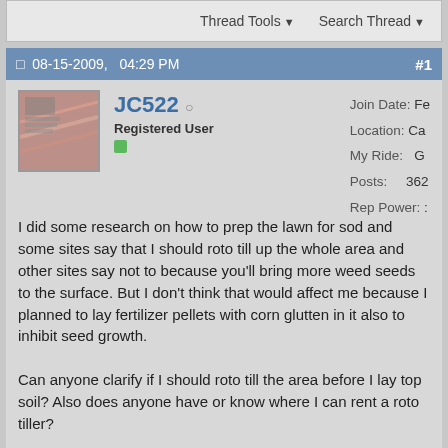Thread Tools  Search Thread
08-15-2009, 04:29 PM  #1
JC522
Registered User
Join Date: Fe
Location: Ca
My Ride: G
Posts: 362
Rep Power: :
I did some research on how to prep the lawn for sod and some sites say that I should roto till up the whole area and other sites say not to because you'll bring more weed seeds to the surface. But I don't think that would affect me because I planned to lay fertilizer pellets with corn glutten in it also to inhibit seed growth.

Can anyone clarify if I should roto till the area before I lay top soil? Also does anyone have or know where I can rent a roto tiller?
Quote